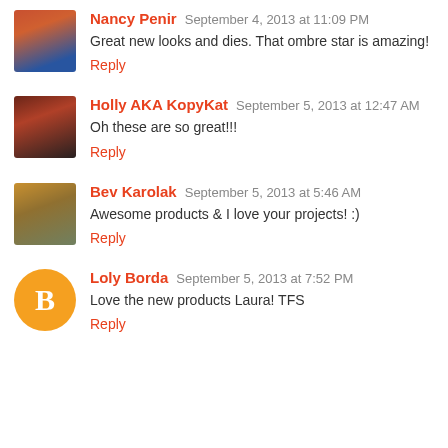Nancy Penir  September 4, 2013 at 11:09 PM
Great new looks and dies. That ombre star is amazing!
Reply
Holly AKA KopyKat  September 5, 2013 at 12:47 AM
Oh these are so great!!!
Reply
Bev Karolak  September 5, 2013 at 5:46 AM
Awesome products & I love your projects! :)
Reply
Loly Borda  September 5, 2013 at 7:52 PM
Love the new products Laura! TFS
Reply